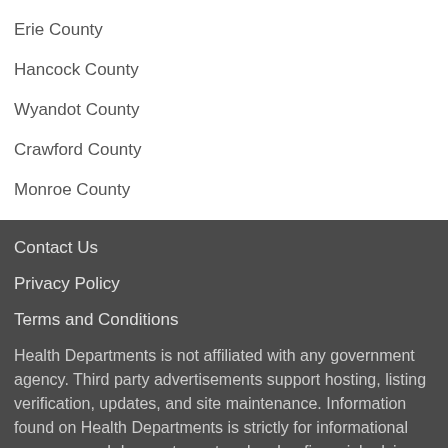Erie County
Hancock County
Wyandot County
Crawford County
Monroe County
Contact Us
Privacy Policy
Terms and Conditions
Health Departments is not affiliated with any government agency. Third party advertisements support hosting, listing verification, updates, and site maintenance. Information found on Health Departments is strictly for informational purposes and does not construe legal or financial advice.